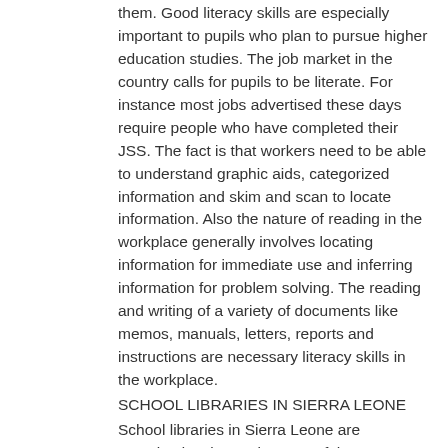them. Good literacy skills are especially important to pupils who plan to pursue higher education studies. The job market in the country calls for pupils to be literate. For instance most jobs advertised these days require people who have completed their JSS. The fact is that workers need to be able to understand graphic aids, categorized information and skim and scan to locate information. Also the nature of reading in the workplace generally involves locating information for immediate use and inferring information for problem solving. The reading and writing of a variety of documents like memos, manuals, letters, reports and instructions are necessary literacy skills in the workplace.
SCHOOL LIBRARIES IN SIERRA LEONE
School libraries in Sierra Leone are perceived as integral aspect of the county's educational system. These institutions bring together four major components of the school community: the materials, pupils, teacher and library staff. The main purpose for the establishment of these institutions in schools is to complement the teaching/learning process, if not to support the curriculum. This purpose is achieved in two ways: by